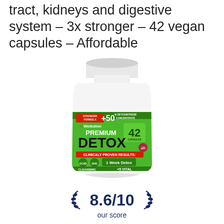tract, kidneys and digestive system – 3x stronger – 42 vegan capsules – Affordable
[Figure (photo): Wellution Premium Detox supplement bottle with green label. Label shows: STRONGER FORMULA +50, Wellution, PREMIUM, DETOX, 42 CAPSULES, % DETOXINTENSE CONCENTRATE, CLINICALY PROVEN RESULTS: 1 Week Detox, GC&D badge, SHG badge, CLEANSING FORMULA +5 VITAL ANTIOXIDANTS, US flag badge.]
8.6/10
our score